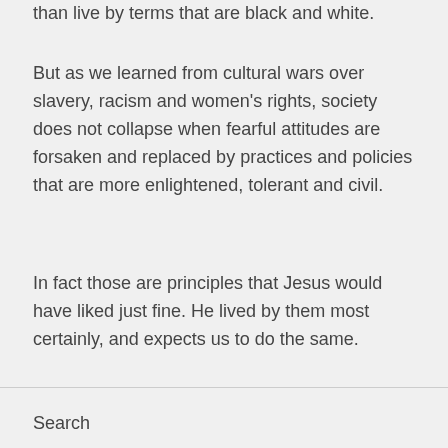than live by terms that are black and white.
But as we learned from cultural wars over slavery, racism and women’s rights, society does not collapse when fearful attitudes are forsaken and replaced by practices and policies that are more enlightened, tolerant and civil.
In fact those are principles that Jesus would have liked just fine. He lived by them most certainly, and expects us to do the same.
Search